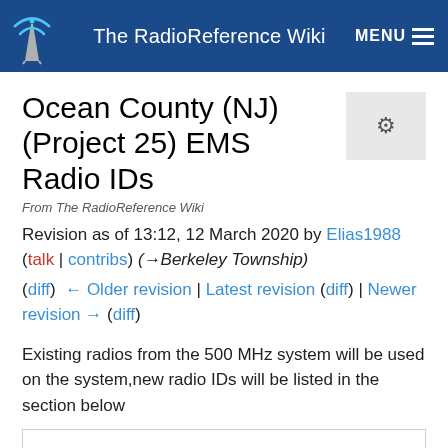The RadioReference Wiki
Ocean County (NJ) (Project 25) EMS Radio IDs
From The RadioReference Wiki
Revision as of 13:12, 12 March 2020 by Elias1988 (talk | contribs) (→Berkeley Township)
(diff) ← Older revision | Latest revision (diff) | Newer revision → (diff)
Existing radios from the 500 MHz system will be used on the system,new radio IDs will be listed in the section below